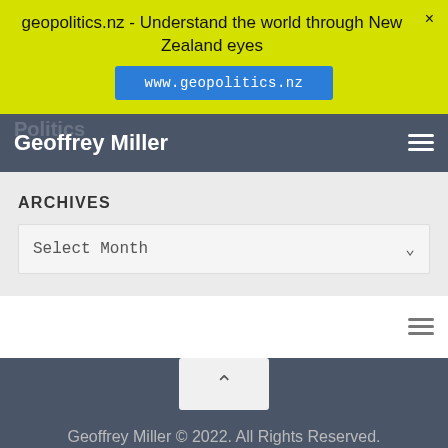geopolitics.nz - Understand the world through New Zealand eyes
www.geopolitics.nz
Geoffrey Miller
ARCHIVES
Select Month
Geoffrey Miller © 2022. All Rights Reserved.